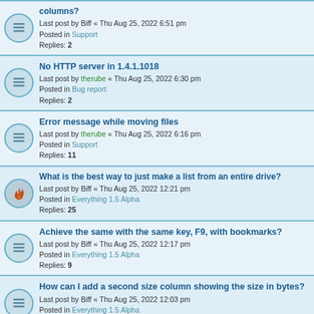columns? Last post by Biff « Thu Aug 25, 2022 6:51 pm Posted in Support Replies: 2
No HTTP server in 1.4.1.1018 Last post by therube « Thu Aug 25, 2022 6:30 pm Posted in Bug report Replies: 2
Error message while moving files Last post by therube « Thu Aug 25, 2022 6:16 pm Posted in Support Replies: 11
What is the best way to just make a list from an entire drive? Last post by Biff « Thu Aug 25, 2022 12:21 pm Posted in Everything 1.5 Alpha Replies: 25
Achieve the same with the same key, F9, with bookmarks? Last post by Biff « Thu Aug 25, 2022 12:17 pm Posted in Everything 1.5 Alpha Replies: 9
How can I add a second size column showing the size in bytes? Last post by Biff « Thu Aug 25, 2022 12:03 pm Posted in Everything 1.5 Alpha Replies: 4
Show with a single click special columns in a special order? Last post by void « Thu Aug 25, 2022 11:05 am Posted in Everything 1.5 Alpha Replies: 3
(partial row cut off at bottom)